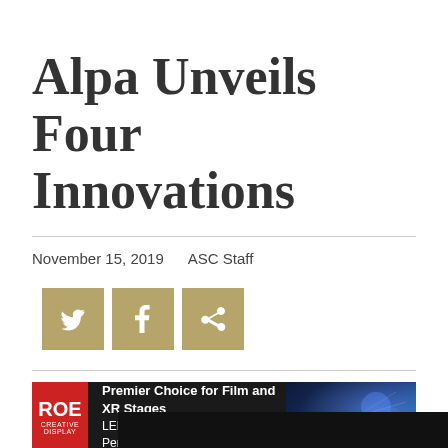Alpa Unveils Four Innovations
November 15, 2019    ASC Staff
[Figure (infographic): Three social sharing buttons (Twitter, Facebook, Share) with tan/gold background]
[Figure (infographic): ROE Creative Display advertisement banner: Premier Choice for Film and XR Stages LED for Perfect In-Camera Performance]
[Figure (photo): Partial dark photograph at bottom of page]